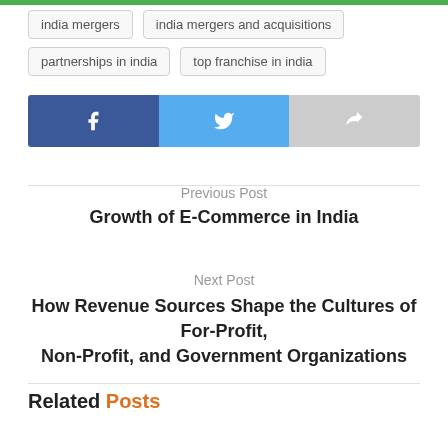india mergers
india mergers and acquisitions
partnerships in india
top franchise in india
[Figure (other): Social share buttons: Facebook (blue), Twitter (light blue), Share (gray)]
Previous Post
Growth of E-Commerce in India
Next Post
How Revenue Sources Shape the Cultures of For-Profit, Non-Profit, and Government Organizations
Related Posts